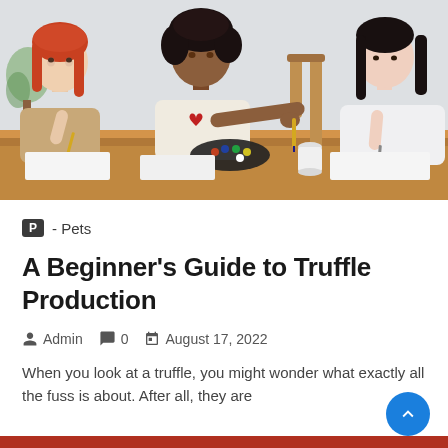[Figure (photo): Three children sitting at a wooden table, painting or drawing on paper. A girl with long red hair on the left, a girl in a cream t-shirt with a red heart in the center reaching across, and a girl with straight black hair in a white blouse on the right. Art supplies including a black paint palette and a white cup are visible on the table.]
P - Pets
A Beginner's Guide to Truffle Production
Admin  0  August 17, 2022
When you look at a truffle, you might wonder what exactly all the fuss is about. After all, they are